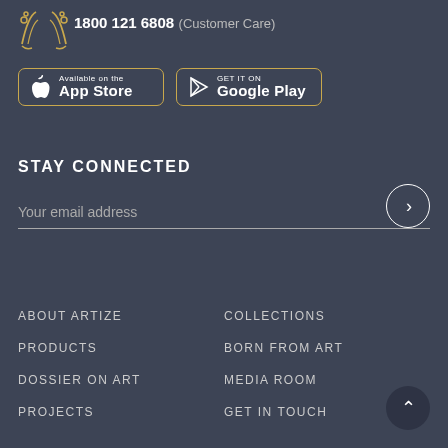[Figure (logo): Artize logo icon with decorative golden ornamental design]
1800 121 6808 (Customer Care)
[Figure (other): App Store and Google Play download buttons with golden borders]
STAY CONNECTED
Your email address
ABOUT ARTIZE
PRODUCTS
DOSSIER ON ART
PROJECTS
COLLECTIONS
BORN FROM ART
MEDIA ROOM
GET IN TOUCH